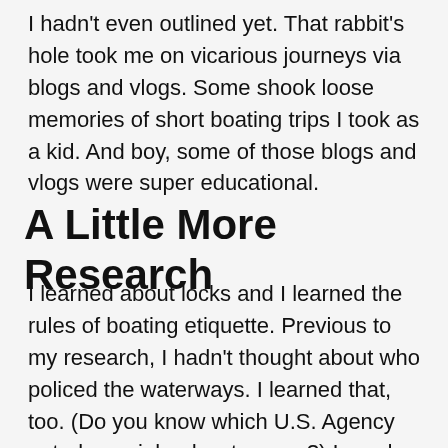I hadn't even outlined yet. That rabbit's hole took me on vicarious journeys via blogs and vlogs. Some shook loose memories of short boating trips I took as a kid. And boy, some of those blogs and vlogs were super educational.
A Little More Research
I learned about locks and I learned the rules of boating etiquette. Previous to my research, I hadn't thought about who policed the waterways. I learned that, too. (Do you know which U.S. Agency patrols our inland waterways?) I used so much real detail as I